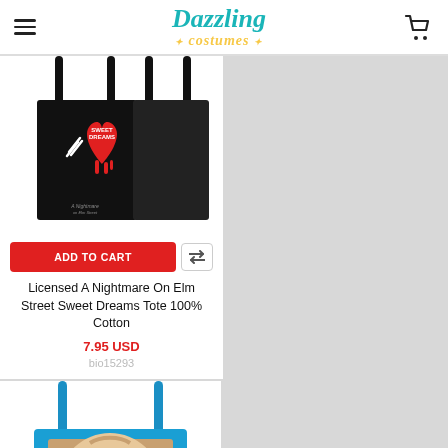Dazzling costumes
[Figure (photo): Black tote bag with A Nightmare on Elm Street Sweet Dreams graphic (red dripping heart with claws), shown front and back]
ADD TO CART
Licensed A Nightmare On Elm Street Sweet Dreams Tote 100% Cotton
7.95 USD
bio15293
[Figure (photo): Blue canvas tote bag with Gremlins Gizmo face image printed on front]
ADD TO CART
Licensed Gremlins Gizmo Face Image Blue Canvas Tote 100% Cotton
7.95 USD
bio19271
[Figure (photo): Partial view of a cream/white tote bag handle and top]
[Figure (photo): Partial view of a black tote bag handle and top]